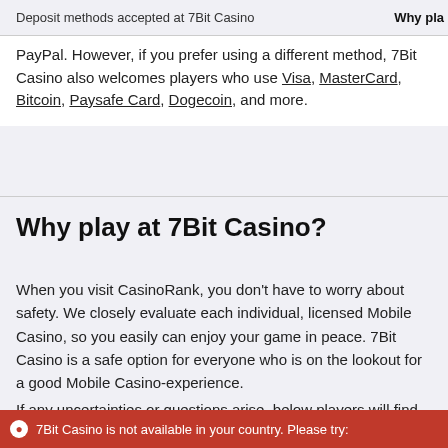Deposit methods accepted at 7Bit Casino   Why pla
PayPal. However, if you prefer using a different method, 7Bit Casino also welcomes players who use Visa, MasterCard, Bitcoin, Paysafe Card, Dogecoin, and more.
Why play at 7Bit Casino?
When you visit CasinoRank, you don’t have to worry about safety. We closely evaluate each individual, licensed Mobile Casino, so you easily can enjoy your game in peace. 7Bit Casino is a safe option for everyone who is on the lookout for a good Mobile Casino-experience.
If any uncertainties or questions arise, below players will find some good to know information
7Bit Casino is not available in your country. Please try: